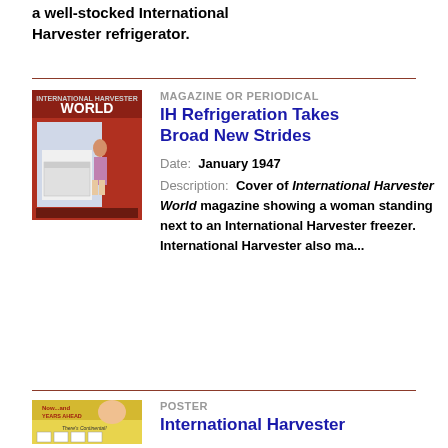a well-stocked International Harvester refrigerator.
[Figure (photo): Cover of International Harvester World magazine January 1947, showing a woman standing next to an International Harvester freezer.]
MAGAZINE OR PERIODICAL
IH Refrigeration Takes Broad New Strides
Date:  January 1947
Description:  Cover of International Harvester World magazine showing a woman standing next to an International Harvester freezer. International Harvester also ma...
[Figure (photo): Poster with text 'Now...and YEARS AHEAD There's Continental!' showing a woman and product display panels.]
POSTER
International Harvester